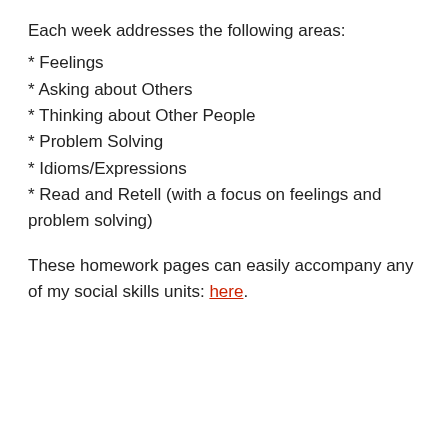Each week addresses the following areas:
* Feelings
* Asking about Others
* Thinking about Other People
* Problem Solving
* Idioms/Expressions
* Read and Retell (with a focus on feelings and problem solving)
These homework pages can easily accompany any of my social skills units: here.